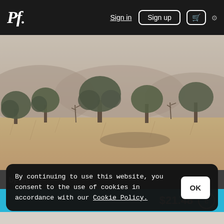Pf. | Sign in | Sign up | Cart | Settings
[Figure (photo): Landscape photograph showing a misty savanna scene with scattered trees, dry grass, and hazy hills in the background.]
by shi
$21.48 ©
By continuing to use this website, you consent to the use of cookies in accordance with our Cookie Policy.